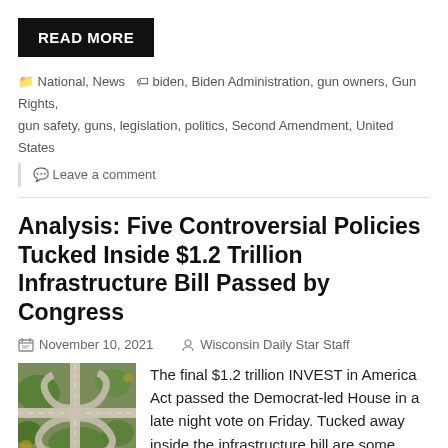READ MORE
National, News  biden, Biden Administration, gun owners, Gun Rights, gun safety, guns, legislation, politics, Second Amendment, United States
Leave a comment
Analysis: Five Controversial Policies Tucked Inside $1.2 Trillion Infrastructure Bill Passed by Congress
November 10, 2021   Wisconsin Daily Star Staff
[Figure (photo): Aerial view of a highway interchange with roads and greenery]
The final $1.2 trillion INVEST in America Act passed the Democrat-led House in a late night vote on Friday. Tucked away inside the infrastructure bill are some controversial policies, including these five:
1. The cryptocurrency tax provision in the Senate version of the bill was the subject of scrutiny from Democrats and